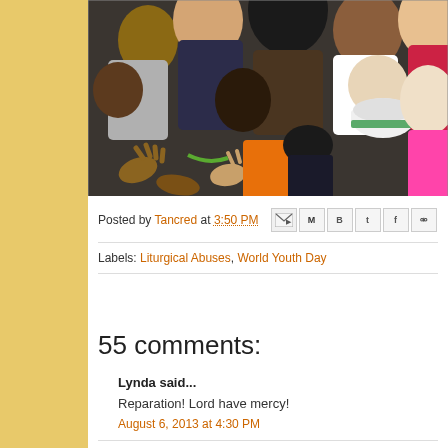[Figure (photo): A crowd of diverse people with hands reaching and touching, appearing to be at a religious or youth event (World Youth Day). People of various ethnicities crowding together, some with hands raised or extended.]
Posted by Tancred at 3:50 PM
Labels: Liturgical Abuses, World Youth Day
55 comments:
Lynda said...
Reparation! Lord have mercy!
August 6, 2013 at 4:30 PM